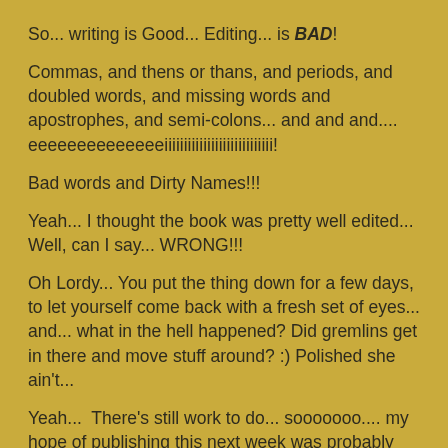So... writing is Good... Editing... is BAD!
Commas, and thens or thans, and periods, and doubled words, and missing words and apostrophes, and semi-colons... and and and.... eeeeeeeeeeeeeeiiiiiiiiiiiiiiiiiiiiiiiiiiii!
Bad words and Dirty Names!!!
Yeah... I thought the book was pretty well edited... Well, can I say... WRONG!!!
Oh Lordy... You put the thing down for a few days, to let yourself come back with a fresh set of eyes... and... what in the hell happened? Did gremlins get in there and move stuff around? :) Polished she ain't...
Yeah...  There's still work to do... sooooooo.... my hope of publishing this next week was probably juuuuuust a mite ambitious. :)
It's gonna take a touch longer than that to put this baby to